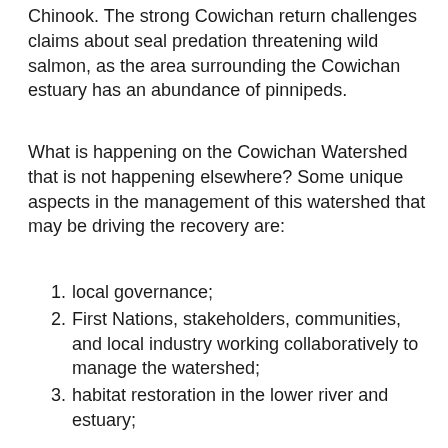Chinook. The strong Cowichan return challenges claims about seal predation threatening wild salmon, as the area surrounding the Cowichan estuary has an abundance of pinnipeds.
What is happening on the Cowichan Watershed that is not happening elsewhere? Some unique aspects in the management of this watershed that may be driving the recovery are:
local governance;
First Nations, stakeholders, communities, and local industry working collaboratively to manage the watershed;
habitat restoration in the lower river and estuary;
good monitoring and research activities supported by the involved parties; and
people coming together to coerce the